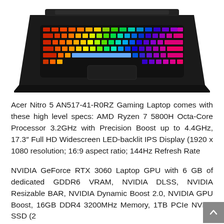[Figure (photo): Acer Nitro 5 gaming laptop viewed from above, showing RGB backlit keyboard with rainbow spectrum lighting, on white background. Only the top portion of the open laptop (keyboard area) is visible.]
Acer Nitro 5 AN517-41-R0RZ Gaming Laptop comes with these high level specs: AMD Ryzen 7 5800H Octa-Core Processor 3.2GHz with Precision Boost up to 4.4GHz, 17.3″ Full HD Widescreen LED-backlit IPS Display (1920 x 1080 resolution; 16:9 aspect ratio; 144Hz Refresh Rate
NVIDIA GeForce RTX 3060 Laptop GPU with 6 GB of dedicated GDDR6 VRAM, NVIDIA DLSS, NVIDIA Resizable BAR, NVIDIA Dynamic Boost 2.0, NVIDIA GPU Boost, 16GB DDR4 3200MHz Memory, 1TB PCIe NVMe SSD (2